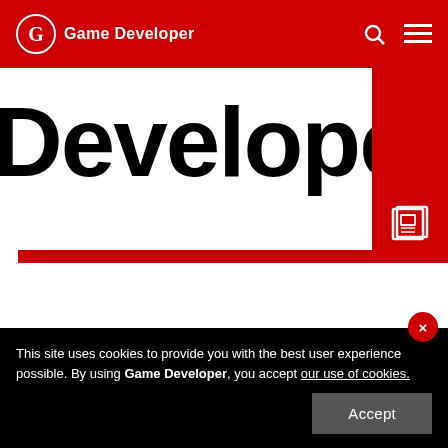Game Developer
[Figure (screenshot): Game Developer website hero banner showing the word 'Developer' in large bold black text with a red L-shaped block on the right and bottom, and a red box with a newspaper icon]
The Stanley Parable Dev Showcase: Secrets
The Stanley Parable Helpful Development Showcase is an extremely insightful and informative look into what it takes to make a video game. This week: Secrets!!
This site uses cookies to provide you with the best user experience possible. By using Game Developer, you accept our use of cookies.